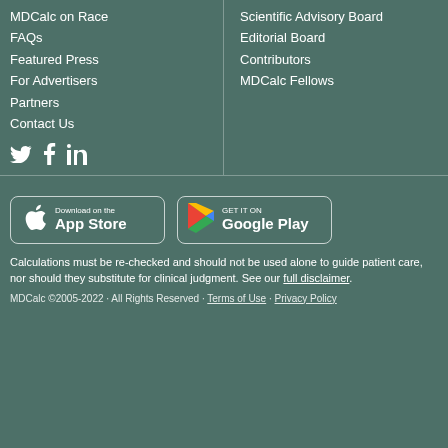MDCalc on Race
FAQs
Featured Press
For Advertisers
Partners
Contact Us
Scientific Advisory Board
Editorial Board
Contributors
MDCalc Fellows
[Figure (logo): Twitter, Facebook, and LinkedIn social media icons]
[Figure (logo): Download on the App Store button]
[Figure (logo): Get it on Google Play button]
Calculations must be re-checked and should not be used alone to guide patient care, nor should they substitute for clinical judgment. See our full disclaimer.
MDCalc ©2005-2022 · All Rights Reserved · Terms of Use · Privacy Policy